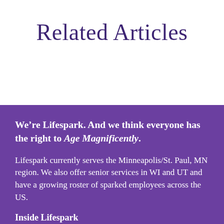Related Articles
We’re Lifespark. And we think everyone has the right to Age Magnificently.
Lifespark currently serves the Minneapolis/St. Paul, MN region. We also offer senior services in WI and UT and have a growing roster of sparked employees across the US.
Inside Lifespark